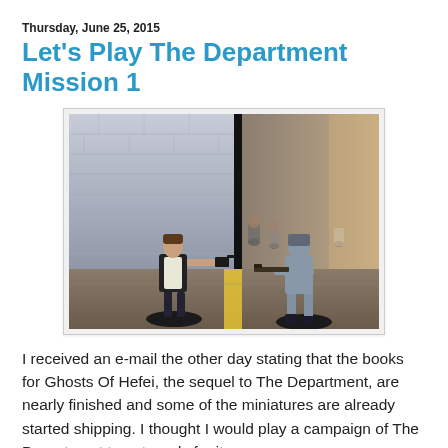Thursday, June 25, 2015
Let's Play The Department Mission 1
[Figure (photo): Tabletop miniature wargame scene showing painted miniature figures in action poses on a street/urban terrain board. A figure in black vest aims a gun on the left, and a grey-uniformed figure with a rifle stands on the right. Several more figures and terrain elements are visible in the background.]
I received an e-mail the other day stating that the books for Ghosts Of Hefei, the sequel to The Department, are nearly finished and some of the miniatures are already started shipping. I thought I would play a campaign of The Department to get ready for it.